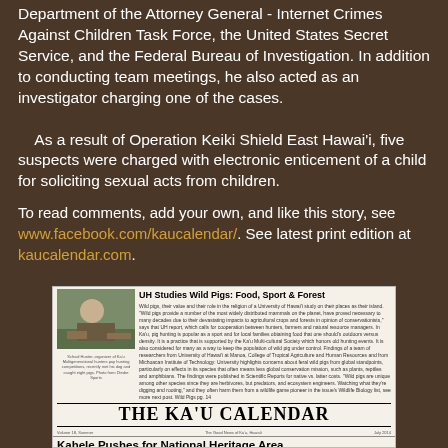Department of the Attorney General - Internet Crimes Against Children Task Force, the United States Secret Service, and the Federal Bureau of Investigation. In addition to conducting team meetings, he also acted as an investigator charging one of the cases.
    As a result of Operation Keiki Shield East Hawai'i, five suspects were charged with electronic enticement of a child for soliciting sexual acts from children.
To read comments, add your own, and like this story, see www.facebook.com/kaucalendar/. See latest print edition at kaucalendar.com.
[Figure (photo): Newspaper front page of The Ka'u Calendar featuring headline 'UH Studies Wild Pigs: Food, Sport & Forest' with photo of pig hunter and article about 'Kahele Pushes for National Heritage Area' with photo of two men.]